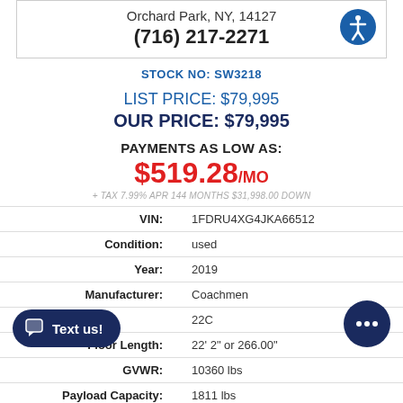Orchard Park, NY, 14127
(716) 217-2271
STOCK NO: SW3218
LIST PRICE: $79,995
OUR PRICE: $79,995
PAYMENTS AS LOW AS:
$519.28/MO
+ TAX 7.99% APR 144 MONTHS $31,998.00 DOWN
| Label | Value |
| --- | --- |
| VIN: | 1FDRU4XG4JKA66512 |
| Condition: | used |
| Year: | 2019 |
| Manufacturer: | Coachmen |
|  | 22C |
| Floor Length: | 22' 2" or 266.00" |
| GVWR: | 10360 lbs |
| Payload Capacity: | 1811 lbs |